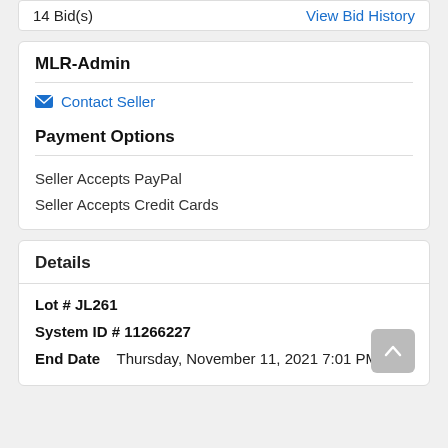14 Bid(s)    View Bid History
MLR-Admin
Contact Seller
Payment Options
Seller Accepts PayPal
Seller Accepts Credit Cards
Details
Lot # JL261
System ID # 11266227
End Date    Thursday, November 11, 2021 7:01 PM AZT